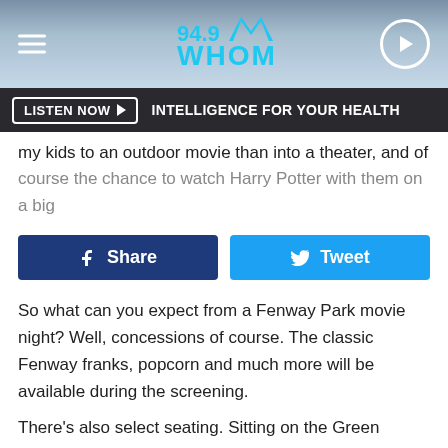[Figure (logo): 94.9 WHOM radio station logo with header bar, hamburger menu, and play button]
LISTEN NOW   INTELLIGENCE FOR YOUR HEALTH
my kids to an outdoor movie than into a theater, and of course the chance to watch Harry Potter with them on a big
Share   Tweet
So what can you expect from a Fenway Park movie night? Well, concessions of course. The classic Fenway franks, popcorn and much more will be available during the screening.
There's also select seating. Sitting on the Green Monster would be silly for this night at the park, so seats for Harry Potter are just being sold in the lower bowl and along the first base line for a best view of the big screen.